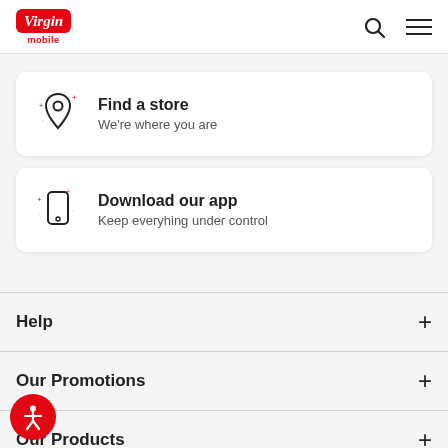Virgin mobile — navigation header with search and menu icons
Find a store
We're where you are
Download our app
Keep everyhing under control
Help
Our Promotions
Our Products
[Figure (illustration): Accessibility icon — person with arms out in a red circle]